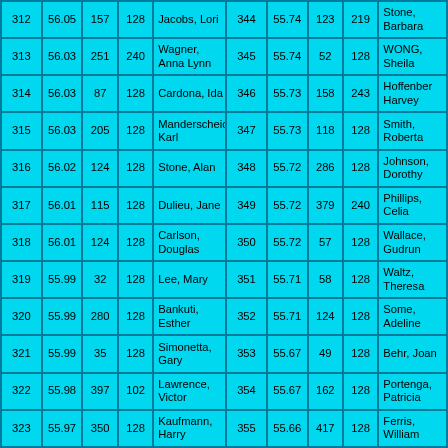| # | Score | V1 | V2 | Name | # | Score | V1 | V2 | Name |
| --- | --- | --- | --- | --- | --- | --- | --- | --- | --- |
| 312 | 56.05 | 157 | 128 | Jacobs, Lori | 344 | 55.74 | 123 | 219 | Stone, Barbara |
| 313 | 56.03 | 251 | 240 | Wagner, Anna Lynn | 345 | 55.74 | 52 | 128 | WONG, Sheila |
| 314 | 56.03 | 87 | 128 | Cardona, Ida | 346 | 55.73 | 158 | 243 | Hoffenberg, Harvey |
| 315 | 56.03 | 205 | 128 | Manderscheid, Karl | 347 | 55.73 | 118 | 128 | Smith, Roberta |
| 316 | 56.02 | 124 | 128 | Stone, Alan | 348 | 55.72 | 286 | 128 | Johnson, Dorothy |
| 317 | 56.01 | 115 | 128 | Dulieu, Jane | 349 | 55.72 | 379 | 240 | Phillips, Celia |
| 318 | 56.01 | 124 | 128 | Carlson, Douglas | 350 | 55.72 | 57 | 128 | Wallace, Gudrun |
| 319 | 55.99 | 32 | 128 | Lee, Mary | 351 | 55.71 | 58 | 128 | Waltz, Theresa |
| 320 | 55.99 | 280 | 128 | Bankuti, Esther | 352 | 55.71 | 124 | 128 | Some, Adeline |
| 321 | 55.99 | 35 | 128 | Simonetta, Gary | 353 | 55.67 | 49 | 128 | Behr, Joan |
| 322 | 55.98 | 397 | 102 | Lawrence, Victor | 354 | 55.67 | 162 | 128 | Portenga, Patricia |
| 323 | 55.97 | 350 | 128 | Kaufmann, Harry | 355 | 55.66 | 417 | 128 | Ferris, William |